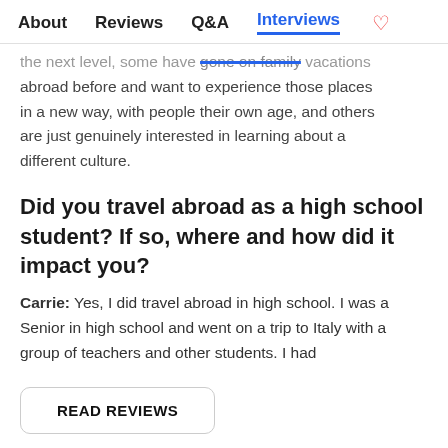About   Reviews   Q&A   Interviews  ♡
the next level, some have gone on family vacations abroad before and want to experience those places in a new way, with people their own age, and others are just genuinely interested in learning about a different culture.
Did you travel abroad as a high school student? If so, where and how did it impact you?
Carrie: Yes, I did travel abroad in high school. I was a Senior in high school and went on a trip to Italy with a group of teachers and other students. I had
READ REVIEWS